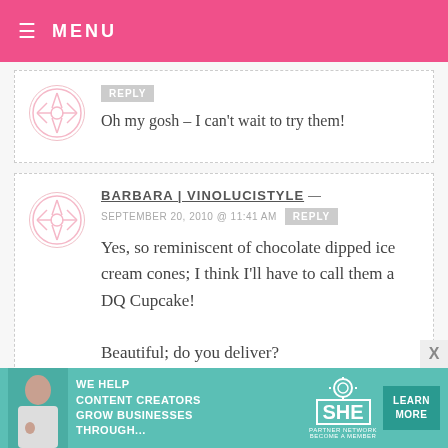MENU
Oh my gosh – I can't wait to try them!
BARBARA | VINOLUCISTYLE — SEPTEMBER 20, 2010 @ 11:41 AM
Yes, so reminiscent of chocolate dipped ice cream cones; I think I'll have to call them a DQ Cupcake!

Beautiful; do you deliver?
[Figure (infographic): SHE Partner Network advertisement banner: We help content creators grow businesses through...]